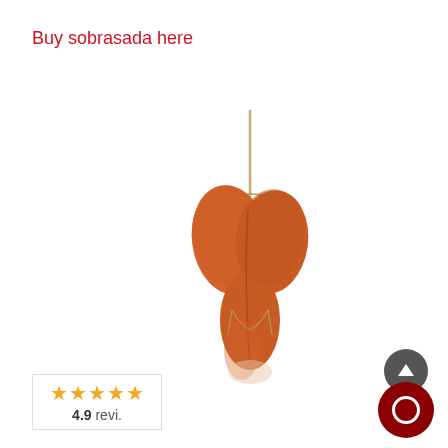Buy sobrasada here
[Figure (photo): A piece of sobrasada (cured sausage) hanging by string with a skewer/stick through the top, against a white background]
★★★★★ 4.9 revi.